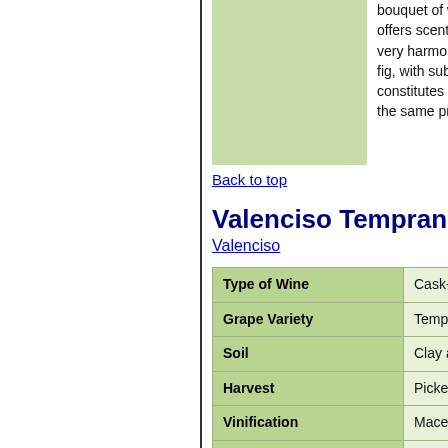[Figure (photo): Green/light colored wine image placeholder]
bouquet of warm leather, offers scents of melted ta... very harmonious with suc... fig, with subtle white pep... constitutes a worthy follo... the same propensity to ag...
Back to top
Valenciso Tempranillo Reserva
Valenciso
|  |  |
| --- | --- |
| Type of Wine | Cask-aged red. |
| Grape Variety | Tempranillo. |
| Soil | Clay and chalk. |
| Harvest | Picked by hand, followed... |
| Vinification | Macerated for three week... |
| Ageing | French oak, which are rep... |
| Tasting Notes | 90 POINTS "Outstandin... Advocate.

Dark garnet colour and fla... of spice. Flavoursome, so... persistent aftertaste. An e... the Tempranillo grape. |